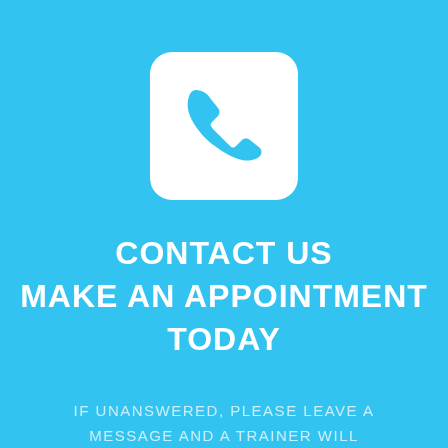[Figure (illustration): White rounded square icon with a sky-blue telephone/phone handset symbol inside, on a sky-blue background]
CONTACT US
MAKE AN APPOINTMENT
TODAY
IF UNANSWERED, PLEASE LEAVE A MESSAGE AND A TRAINER WILL RETURN CALL